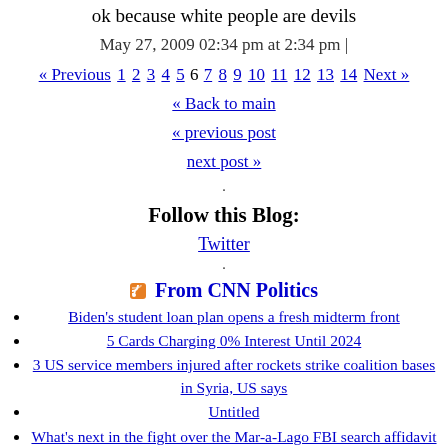ok because white people are devils
May 27, 2009 02:34 pm at 2:34 pm |
« Previous 1 2 3 4 5 6 7 8 9 10 11 12 13 14 Next »
« Back to main
« previous post
next post »
Follow this Blog:
Twitter
From CNN Politics
Biden's student loan plan opens a fresh midterm front
5 Cards Charging 0% Interest Until 2024
3 US service members injured after rockets strike coalition bases in Syria, US says
Untitled
What's next in the fight over the Mar-a-Lago FBI search affidavit
US Senate candidate's ad in Washington is latest example of